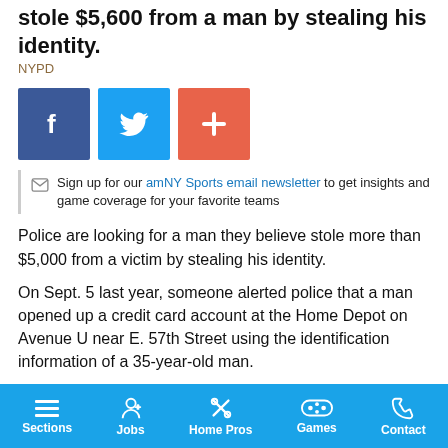stole $5,600 from a man by stealing his identity.
NYPD
[Figure (infographic): Social share buttons: Facebook (blue), Twitter (light blue), and a plus/share button (orange-red)]
Sign up for our amNY Sports email newsletter to get insights and game coverage for your favorite teams
Police are looking for a man they believe stole more than $5,000 from a victim by stealing his identity.
On Sept. 5 last year, someone alerted police that a man opened up a credit card account at the Home Depot on Avenue U near E. 57th Street using the identification information of a 35-year-old man.
Police said that after an investigation they determined the identity thief also opened two bank accounts, and another retail-store credit
Sections  Jobs  Home Pros  Games  Contact